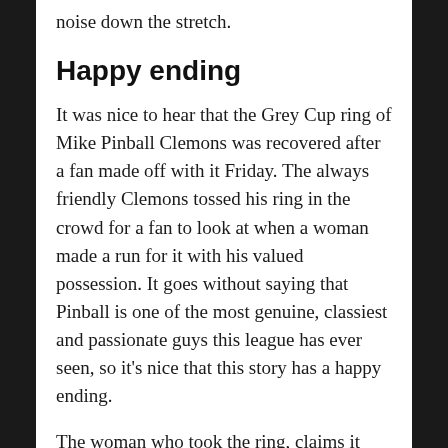noise down the stretch.
Happy ending
It was nice to hear that the Grey Cup ring of Mike Pinball Clemons was recovered after a fan made off with it Friday. The always friendly Clemons tossed his ring in the crowd for a fan to look at when a woman made a run for it with his valued possession. It goes without saying that Pinball is one of the most genuine, classiest and passionate guys this league has ever seen, so it's nice that this story has a happy ending.
The woman who took the ring, claims it was a misunderstanding and that she feels terrible about it. That's a tough story to swallow, but knowing Pinball, he would just flash that